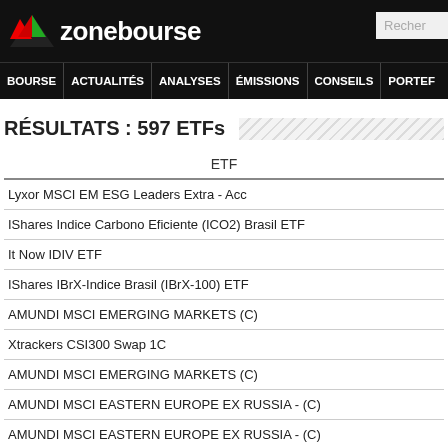zonebourse
BOURSE ACTUALITÉS ANALYSES ÉMISSIONS CONSEILS PORTEF
RÉSULTATS : 597 ETFs
| ETF |
| --- |
| Lyxor MSCI EM ESG Leaders Extra - Acc |
| IShares Indice Carbono Eficiente (ICO2) Brasil ETF |
| It Now IDIV ETF |
| IShares IBrX-Indice Brasil (IBrX-100) ETF |
| AMUNDI MSCI EMERGING MARKETS (C) |
| Xtrackers CSI300 Swap 1C |
| AMUNDI MSCI EMERGING MARKETS (C) |
| AMUNDI MSCI EASTERN EUROPE EX RUSSIA - (C) |
| AMUNDI MSCI EASTERN EUROPE EX RUSSIA - (C) |
| AMUNDI MSCI EM ASIA (C) |
| Lyxor MSCI EM Asia - Acc |